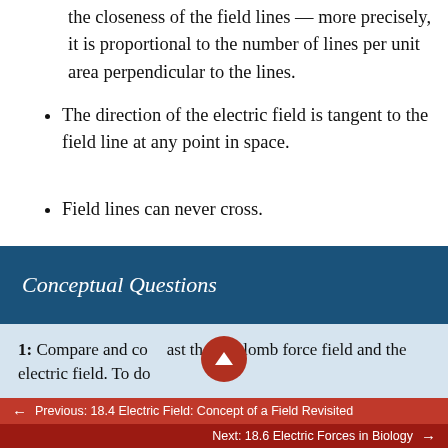the closeness of the field lines — more precisely, it is proportional to the number of lines per unit area perpendicular to the lines.
The direction of the electric field is tangent to the field line at any point in space.
Field lines can never cross.
Conceptual Questions
1: Compare and contrast the Coulomb force field and the electric field. To do
← Previous: 18.4 Electric Field: Concept of a Field Revisited
Next: 18.6 Electric Forces in Biology →